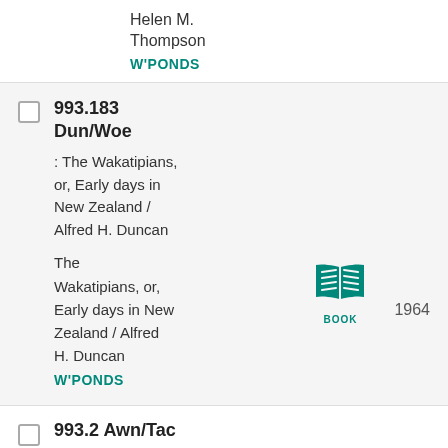Helen M. Thompson
W'PONDS
993.183 Dun/Woe
: The Wakatipians, or, Early days in New Zealand / Alfred H. Duncan
The Wakatipians, or, Early days in New Zealand / Alfred H. Duncan
W'PONDS
[Figure (illustration): Teal book icon with pages open]
BOOK
1964
993.2 Awn/Tac